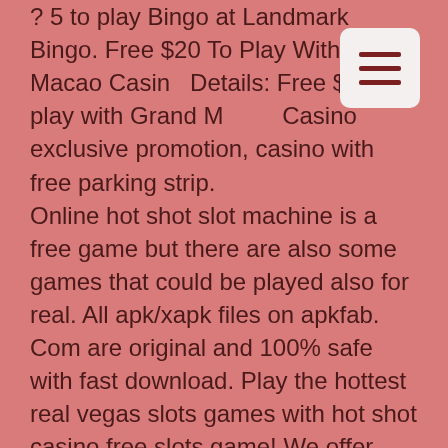? 5 to play Bingo at Landmark Bingo. Free $20 To Play With Grand Macao Casino Details: Free $20 to play with Grand Macao Casino exclusive promotion, casino with free parking strip. Online hot shot slot machine is a free game but there are also some games that could be played also for real. All apk/xapk files on apkfab. Com are original and 100% safe with fast download. Play the hottest real vegas slots games with hot shot casino free slots game! We offer real money live roulette, live blackjack, live poker, craps and more! The award-winning online casino at mr green. ✓ play slots and live casino games or bet on sports. Join mr green &amp; get up to £100 bonus and 200 free spins. It's the hottest ticket to play every hit slot machine and all the real vegas slots machines you adore. Spin winning slots like rise of ra, zeus. Hollywood casino welcome the popular fan-favorite hot shot brand to its online platform